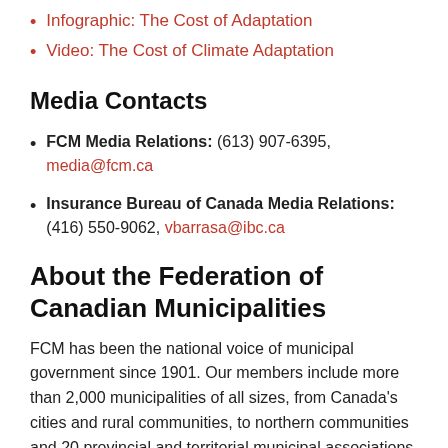Infographic: The Cost of Adaptation
Video: The Cost of Climate Adaptation
Media Contacts
FCM Media Relations: (613) 907-6395, media@fcm.ca
Insurance Bureau of Canada Media Relations: (416) 550-9062, vbarrasa@ibc.ca
About the Federation of Canadian Municipalities
FCM has been the national voice of municipal government since 1901. Our members include more than 2,000 municipalities of all sizes, from Canada's cities and rural communities, to northern communities and 20 provincial and territorial municipal associations. Together, they